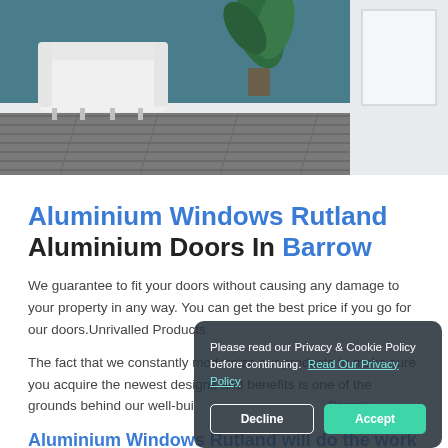[Figure (photo): Interior room photo showing a white armchair on grey wood flooring with a teal/blue wall, white door panel, and green plant in background.]
Aluminium Windows Rutland Aluminium Doors In Barrow
We guarantee to fit your doors without causing any damage to your property in any way. You can get the best price if you go for our doors.Unrivalled Products
The fact that we constantly modernize our products to make sure you acquire the newest designs and benefits is one of the grounds behind our well-built Aluminium Doors In Barrow.
Aluminium Windows Rutland will do the work
Please read our Privacy & Cookie Policy before continuing. Read Our Privacy Policy
Decline
Accept